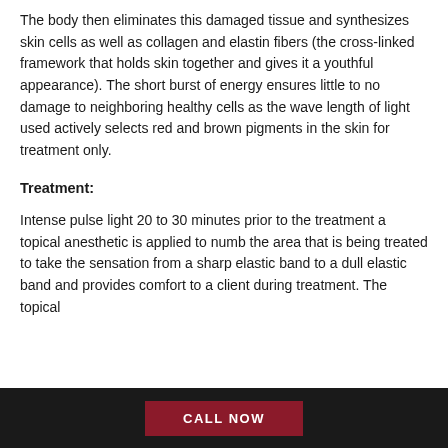The body then eliminates this damaged tissue and synthesizes skin cells as well as collagen and elastin fibers (the cross-linked framework that holds skin together and gives it a youthful appearance). The short burst of energy ensures little to no damage to neighboring healthy cells as the wave length of light used actively selects red and brown pigments in the skin for treatment only.
Treatment:
Intense pulse light 20 to 30 minutes prior to the treatment a topical anesthetic is applied to numb the area that is being treated to take the sensation from a sharp elastic band to a dull elastic band and provides comfort to a client during treatment. The topical
CALL NOW